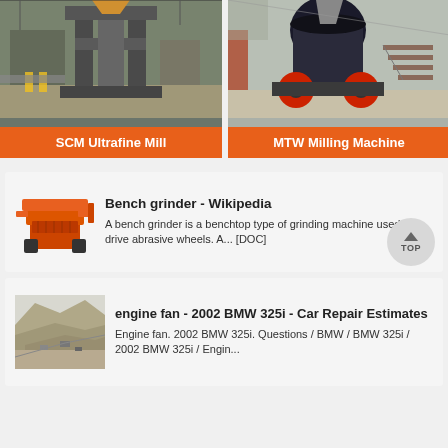[Figure (photo): SCM Ultrafine Mill industrial milling machine in factory setting]
SCM Ultrafine Mill
[Figure (photo): MTW Milling Machine large industrial cone-type machine in factory]
MTW Milling Machine
[Figure (photo): Small orange bench grinder machine illustration]
Bench grinder - Wikipedia
A bench grinder is a benchtop type of grinding machine used to drive abrasive wheels. [DOC]
[Figure (photo): Aerial photo of mining or quarry site with excavation equipment]
engine fan - 2002 BMW 325i - Car Repair Estimates
Engine fan. 2002 BMW 325i. Questions / BMW / BMW 325i / 2002 BMW 325i / Engin...